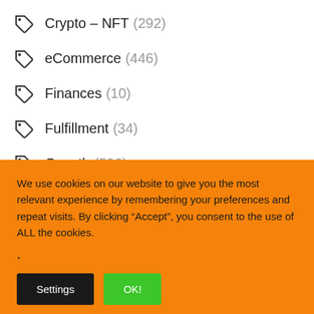Crypto – NFT (292)
eCommerce (446)
Finances (10)
Fulfillment (34)
Growth (596)
Marketing (537)
Passive Income (126)
We use cookies on our website to give you the most relevant experience by remembering your preferences and repeat visits. By clicking “Accept”, you consent to the use of ALL the cookies.
.
Settings   OK!